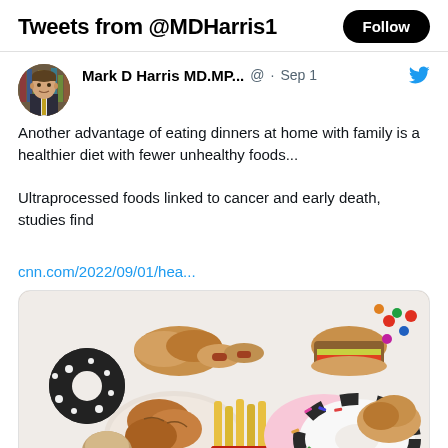Tweets from @MDHarris1
Mark D Harris MD.MP... @ · Sep 1
Another advantage of eating dinners at home with family is a healthier diet with fewer unhealthy foods...

Ultraprocessed foods linked to cancer and early death, studies find

cnn.com/2022/09/01/hea...
[Figure (photo): Photo of various ultraprocessed foods including donuts, fried chicken, french fries, hot dogs, burgers, and candies spread on a surface]
cnn.com
Ultraprocessed foods linked to cancer